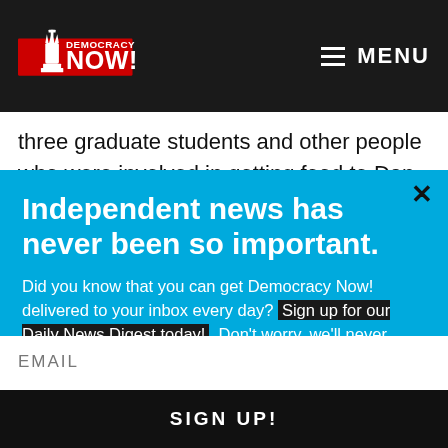Democracy Now! — MENU
three graduate students and other people who were involved in getting food to Dan, getting housing—making
Independent news has never been so important.
Did you know that you can get Democracy Now! delivered to your inbox every day? Sign up for our Daily News Digest today! Don't worry, we'll never share or sell your information.
EMAIL
SIGN UP!